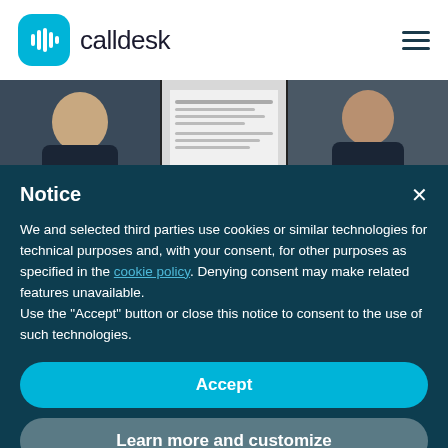[Figure (logo): Calldesk logo: blue rounded square icon with audio waveform bars, followed by text 'calldesk' in dark color]
[Figure (screenshot): Video conference screenshot showing three participants: person on left in dark clothing, screen share in center, person on right in dark jacket]
Notice
We and selected third parties use cookies or similar technologies for technical purposes and, with your consent, for other purposes as specified in the cookie policy. Denying consent may make related features unavailable.
Use the "Accept" button or close this notice to consent to the use of such technologies.
Accept
Learn more and customize